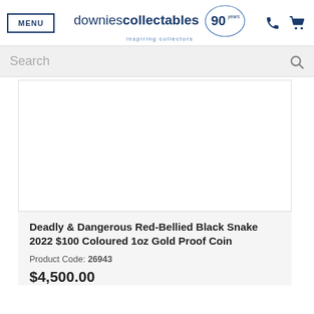MENU | downiescollectables 90 years inspiring collectors
Search
[Figure (photo): Product image area (white/blank) for the Deadly & Dangerous Red-Bellied Black Snake gold coin]
Deadly & Dangerous Red-Bellied Black Snake 2022 $100 Coloured 1oz Gold Proof Coin
Product Code: 26943
$4,500.00